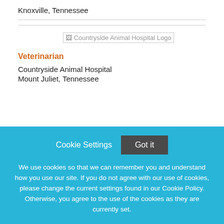Knoxville, Tennessee
[Figure (logo): Countryside Animal Hospital Logo placeholder image]
Veterinarian
Countryside Animal Hospital
Mount Juliet, Tennessee
Cookie Settings
Got it
We use cookies so that we can remember you and understand how you use our site. If you do not agree with our use of cookies, please change the current settings found in our Cookie Policy. Otherwise, you agree to the use of the cookies as they are currently set.